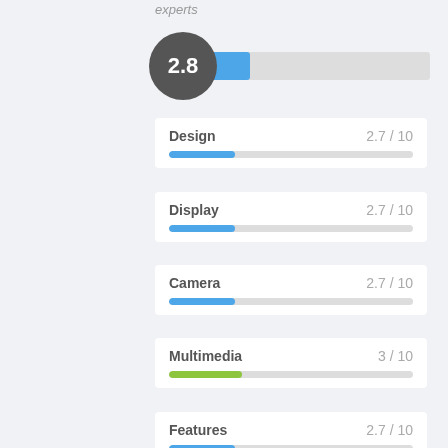experts
[Figure (infographic): Score display with dark circle showing 2.8 and a horizontal blue progress bar]
[Figure (bar-chart): Category ratings]